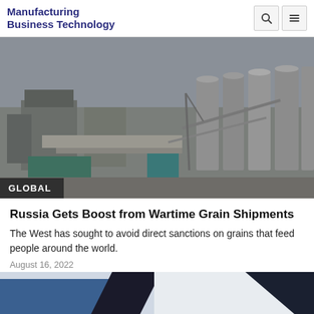Manufacturing Business Technology
[Figure (photo): Aerial view of a grain storage and processing facility with large cylindrical silos, industrial buildings, and rail lines. The image has a dark banner at the bottom left reading 'GLOBAL'.]
Russia Gets Boost from Wartime Grain Shipments
The West has sought to avoid direct sanctions on grains that feed people around the world.
August 16, 2022
[Figure (photo): Partial view of another article's image, showing blue and dark geometric shapes, cropped at the bottom of the page.]